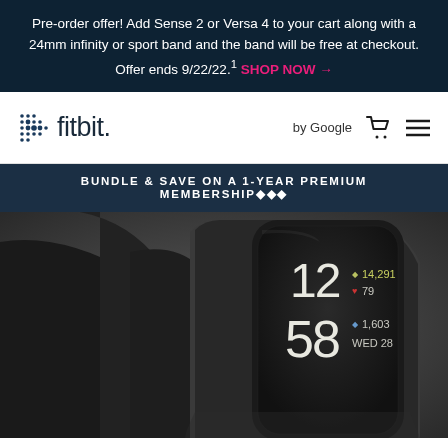Pre-order offer! Add Sense 2 or Versa 4 to your cart along with a 24mm infinity or sport band and the band will be free at checkout. Offer ends 9/22/22.¹ SHOP NOW →
[Figure (logo): Fitbit logo with dot grid icon and text, navigation bar with 'by Google' text, cart icon, and hamburger menu icon]
BUNDLE & SAVE ON A 1-YEAR PREMIUM MEMBERSHIP◆◆◆
[Figure (photo): Close-up of a Fitbit fitness tracker device showing the display screen with time 12:58, step count 14,291, heart rate 79, calories 1,603, and date WED 28]